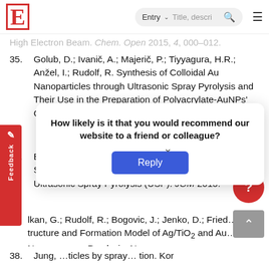E  Entry ▾  Title, descri... 🔍  ≡
High Electron Beam. Chem. Open 2015, 4, 000–012.
35. Golub, D.; Ivanič, A.; Majerič, P.; Tiyyagura, H.R.; Anžel, I.; Rudolf, R. Synthesis of Colloidal Au Nanoparticles through Ultrasonic Spray Pyrolysis and Their Use in the Preparation of Polyacrylate-AuNPs' Composites. Materials 2019, 12.
36. Bogovic, J.; Rudolf, R.; Friedrich, B. The Controlled Single-Step Synthesis of Ag/TiO2 and Au/TiO2 by Ultrasonic Spray Pyrolysis (USP). JOM 2015.
lkan, G.; Rudolf, R.; Bogovic, J.; Jenko, D.; Fried…. tructure and Formation Model of Ag/TiO2 and Au… Nanop… pray Pyrolysis. N…
38. Jung, …ticles by spray… tion. Kor